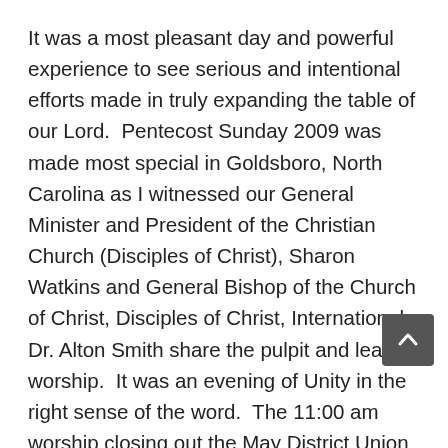It was a most pleasant day and powerful experience to see serious and intentional efforts made in truly expanding the table of our Lord.  Pentecost Sunday 2009 was made most special in Goldsboro, North Carolina as I witnessed our General Minister and President of the Christian Church (Disciples of Christ), Sharon Watkins and General Bishop of the Church of Christ, Disciples of Christ, International, Dr. Alton Smith share the pulpit and lead in worship.  It was an evening of Unity in the right sense of the word.  The 11:00 am worship closing out the May District Union Meeting of the Goldsboro – Raleigh District Assembly, Inc. is where Rev. Dr. Rick